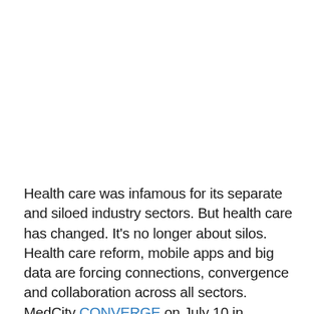Health care was infamous for its separate and siloed industry sectors. But health care has changed. It's no longer about silos. Health care reform, mobile apps and big data are forcing connections, convergence and collaboration across all sectors.
MedCity CONVERGE on July 10 in Philadelphia is one of the few events that gathers the entire health care innovation ecosystem to chart the path for the future of